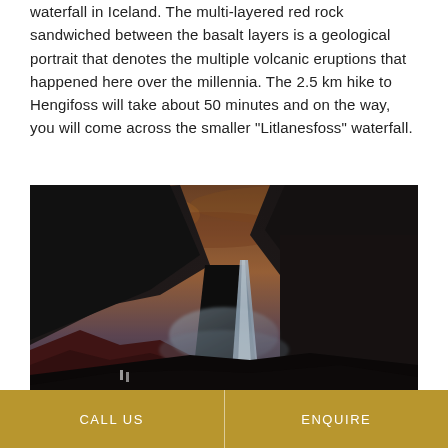waterfall in Iceland. The multi-layered red rock sandwiched between the basalt layers is a geological portrait that denotes the multiple volcanic eruptions that happened here over the millennia. The 2.5 km hike to Hengifoss will take about 50 minutes and on the way, you will come across the smaller "Litlanesfoss" waterfall.
[Figure (photo): Dramatic landscape photo of Hengifoss waterfall in Iceland. A tall white waterfall cascades down between dark basalt cliffs with reddish-purple rocky foreground. Moody sky with warm orange clouds above dark canyon walls.]
CALL US   ENQUIRE